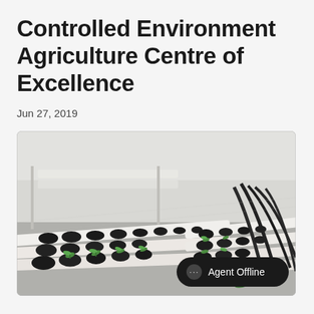Controlled Environment Agriculture Centre of Excellence
Jun 27, 2019
[Figure (photo): Indoor hydroponic facility showing rows of white PVC growing channels with small green seedlings planted in black round cups. Black irrigation tubing runs along the channels. The background shows more growing racks under bright white lighting.]
Agent Offline